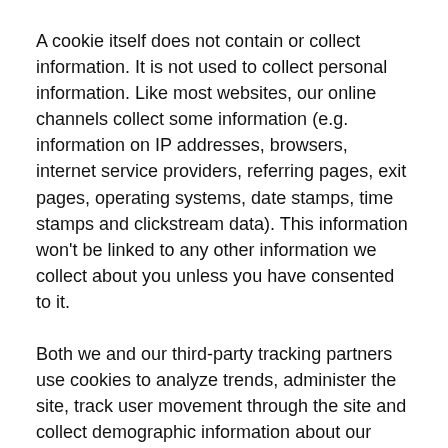A cookie itself does not contain or collect information. It is not used to collect personal information. Like most websites, our online channels collect some information (e.g. information on IP addresses, browsers, internet service providers, referring pages, exit pages, operating systems, date stamps, time stamps and clickstream data). This information won't be linked to any other information we collect about you unless you have consented to it.
Both we and our third-party tracking partners use cookies to analyze trends, administer the site, track user movement through the site and collect demographic information about our overall user base. We may receive reports on these from our third-party tracking partners on an individual and aggregate basis and those partners may combine that information with other information they have collected from you. The third-party tracking partners we work with is Google